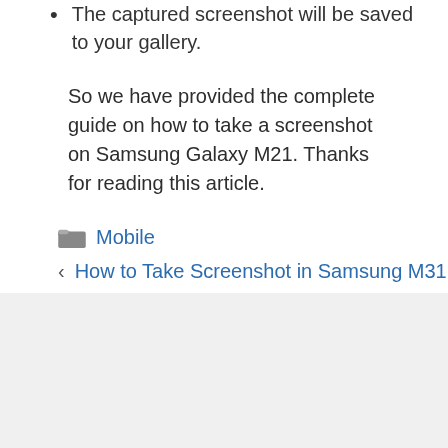The captured screenshot will be saved to your gallery.
So we have provided the complete guide on how to take a screenshot on Samsung Galaxy M21. Thanks for reading this article.
Mobile
< How to Take Screenshot in Samsung M31
> How to Remove Headphone Symbol in Redmi